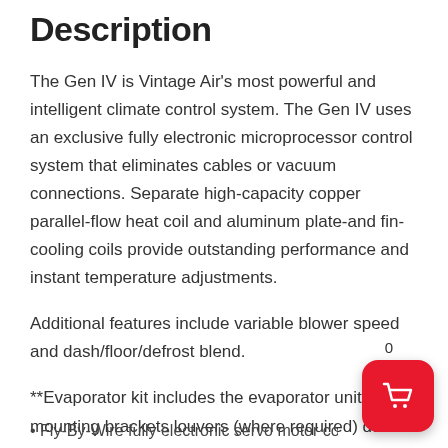Description
The Gen IV is Vintage Air's most powerful and intelligent climate control system. The Gen IV uses an exclusive fully electronic microprocessor control system that eliminates cables or vacuum connections. Separate high-capacity copper parallel-flow heat coil and aluminum plate-and fin-cooling coils provide outstanding performance and instant temperature adjustments.
Additional features include variable blower speed and dash/floor/defrost blend.
**Evaporator kit includes the evaporator unit and mounting brackets louvers (where required) duct hose wiring harness our patented Electronic Cable Converters hardware and installation instructions.
• Fly-By-Wire fully electronic servo motor controls with no